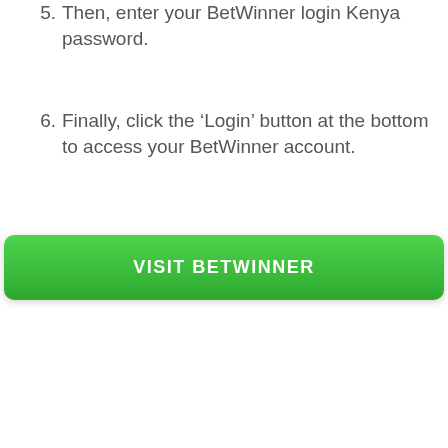5. Then, enter your BetWinner login Kenya password.
6. Finally, click the ‘Login’ button at the bottom to access your BetWinner account.
[Figure (other): Green button labeled VISIT BETWINNER]